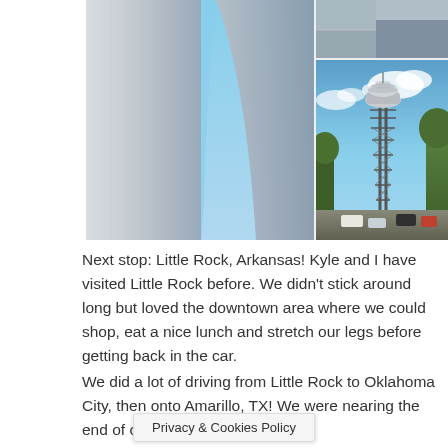[Figure (photo): Photo collage: left side shows a close-up of a tall metallic arch structure (Gateway Arch-style) against a blue sky. Top right shows a landscape/architectural photo. Bottom right shows a tall observation tower with a round top against blue sky with trees and parked cars below.]
Next stop: Little Rock, Arkansas! Kyle and I have visited Little Rock before. We didn't stick around long but loved the downtown area where we could shop, eat a nice lunch and stretch our legs before getting back in the car.
We did a lot of driving from Little Rock to Oklahoma City, then onto Amarillo, TX! We were nearing the end of our trip out. Amarillo is ju... buquerque! We started to...
Privacy & Cookies Policy